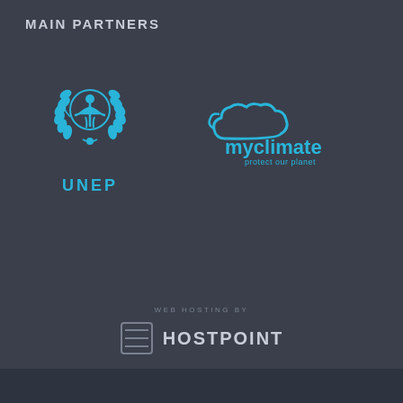MAIN PARTNERS
[Figure (logo): UNEP (United Nations Environment Programme) logo in cyan/blue color with laurel wreath emblem and person figure, with UNEP text below]
[Figure (logo): myclimate logo in cyan/blue with cloud shape and text 'myclimate protect our planet']
WEB HOSTING BY
[Figure (logo): Hostpoint logo: square icon with horizontal lines and HOSTPOINT text in white/grey]